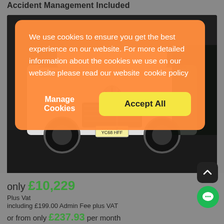Accident Management Included
[Figure (photo): Front view of a white Mercedes-Benz van in a dark parking area, registration plate YC68 HFF]
We use cookies to ensure you get the best experience on our website. For more detailed information about the cookies we use on our website please read our website  cookie policy
Manage Cookies   Accept All
only £10,229
Plus Vat
including £199.00 Admin Fee plus VAT
or from only £237.93 per month
View hire purchase finance example